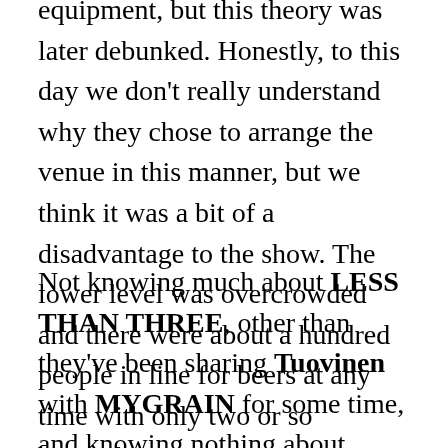equipment, but this theory was later debunked. Honestly, to this day we don't really understand why they chose to arrange the venue in this manner, but we think it was a bit of a disadvantage to the show. The lower level was overcrowded and there were about a hundred people in line for beers at any time with only two or so bartenders.
Not knowing much about LESS THAN THREE, other than they've been sharing Tuovinen with MYGRAIN for some time, and knowing nothing about MAGENTA HARVEST, we skipped the first two openers but showed up in